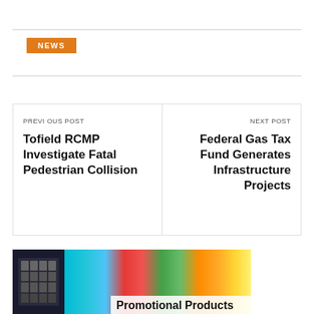NEWS
PREVIOUS POST
Tofield RCMP Investigate Fatal Pedestrian Collision
NEXT POST
Federal Gas Tax Fund Generates Infrastructure Projects
[Figure (photo): Photo thumbnail showing a calculator and colorful office supplies with a partial headline 'Promotional Products' visible at the bottom]
Promotional Products